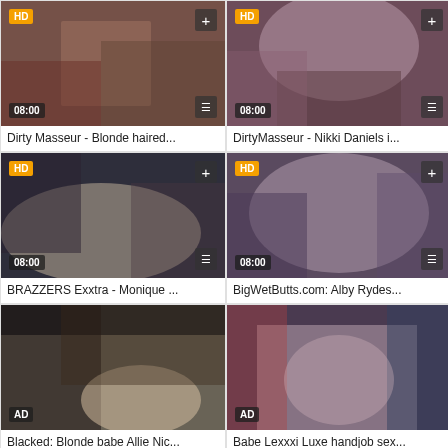[Figure (screenshot): Video thumbnail for 'Dirty Masseur - Blonde haired...' with HD badge, timestamp 08:00, plus and list buttons]
Dirty Masseur - Blonde haired...
[Figure (screenshot): Video thumbnail for 'DirtyMasseur - Nikki Daniels i...' with HD badge, timestamp 08:00, plus and list buttons]
DirtyMasseur - Nikki Daniels i...
[Figure (screenshot): Video thumbnail for 'BRAZZERS Exxtra - Monique ...' with HD badge, timestamp 08:00, plus and list buttons]
BRAZZERS Exxtra - Monique ...
[Figure (screenshot): Video thumbnail for 'BigWetButts.com: Alby Rydes...' with HD badge, timestamp 08:00, plus and list buttons]
BigWetButts.com: Alby Rydes...
[Figure (screenshot): Video thumbnail for 'Blacked: Blonde babe Allie Nic...' with AD badge]
Blacked: Blonde babe Allie Nic...
[Figure (screenshot): Video thumbnail for 'Babe Lexxxi Luxe handjob sex...' with AD badge]
Babe Lexxxi Luxe handjob sex...
DMCA / Copyright  -  Contact us  -  Content Removal  -  Cookie policy  -  Privacy policy  2019-2022 © Wank Tube TV